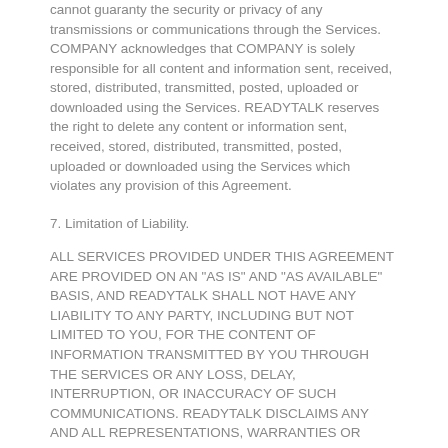cannot guaranty the security or privacy of any transmissions or communications through the Services. COMPANY acknowledges that COMPANY is solely responsible for all content and information sent, received, stored, distributed, transmitted, posted, uploaded or downloaded using the Services. READYTALK reserves the right to delete any content or information sent, received, stored, distributed, transmitted, posted, uploaded or downloaded using the Services which violates any provision of this Agreement.
7. Limitation of Liability.
ALL SERVICES PROVIDED UNDER THIS AGREEMENT ARE PROVIDED ON AN "AS IS" AND "AS AVAILABLE" BASIS, AND READYTALK SHALL NOT HAVE ANY LIABILITY TO ANY PARTY, INCLUDING BUT NOT LIMITED TO YOU, FOR THE CONTENT OF INFORMATION TRANSMITTED BY YOU THROUGH THE SERVICES OR ANY LOSS, DELAY, INTERRUPTION, OR INACCURACY OF SUCH COMMUNICATIONS. READYTALK DISCLAIMS ANY AND ALL REPRESENTATIONS, WARRANTIES OR COVENANTS, EITHER EXPRESS OR IMPLIED, INCLUDING, BUT NOT LIMITED TO, IMPLIED WARRANTIES OF